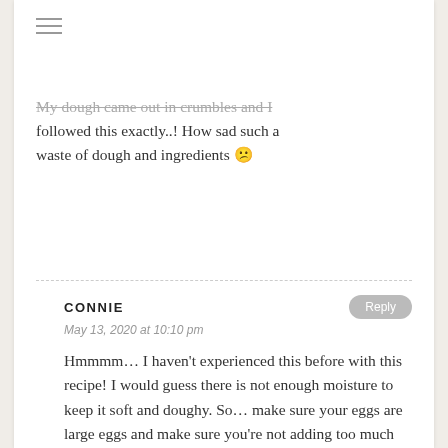My dough came out in crumbles and I followed this exactly..! How sad such a waste of dough and ingredients 😕
CONNIE
May 13, 2020 at 10:10 pm
Hmmmm… I haven't experienced this before with this recipe! I would guess there is not enough moisture to keep it soft and doughy. So… make sure your eggs are large eggs and make sure you're not adding too much flour by packing the flour when measuring. Hopefully this helps!